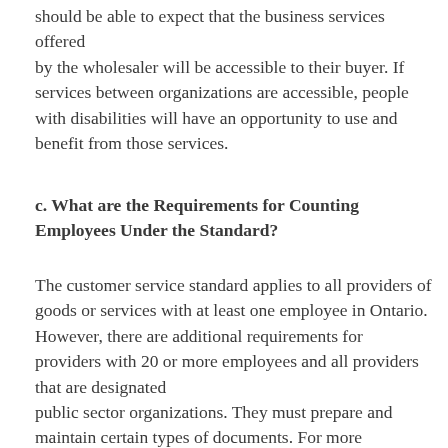should be able to expect that the business services offered by the wholesaler will be accessible to their buyer. If services between organizations are accessible, people with disabilities will have an opportunity to use and benefit from those services.
c. What are the Requirements for Counting Employees Under the Standard?
The customer service standard applies to all providers of goods or services with at least one employee in Ontario. However, there are additional requirements for providers with 20 or more employees and all providers that are designated public sector organizations. They must prepare and maintain certain types of documents. For more information on these documentation requirements,